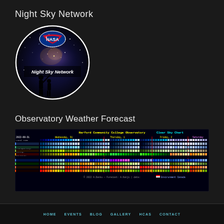Night Sky Network
[Figure (logo): NASA Night Sky Network circular logo with galaxy background, silhouette of two people stargazing, NASA meatball logo at top, text 'Night Sky Network' in white italic font]
Observatory Weather Forecast
[Figure (screenshot): Harford Community College Observatory Clear Sky Chart showing cloud cover, transparency, seeing, darkness, smoke, wind, humidity, and temperature forecast for Wednesday 31, Thursday 1, Friday 2, Saturday 2 with colored grid cells]
HOME   EVENTS   BLOG   GALLERY   HCAS   CONTACT